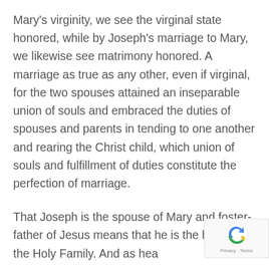Mary's virginity, we see the virginal state honored, while by Joseph's marriage to Mary, we likewise see matrimony honored. A marriage as true as any other, even if virginal, for the two spouses attained an inseparable union of souls and embraced the duties of spouses and parents in tending to one another and rearing the Christ child, which union of souls and fulfillment of duties constitute the perfection of marriage.
That Joseph is the spouse of Mary and foster-father of Jesus means that he is the head of the Holy Family. And as hea…